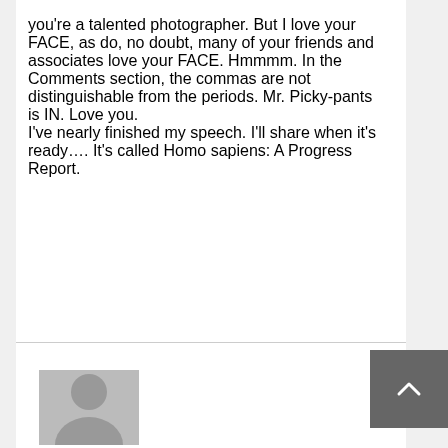you're a talented photographer. But I love your FACE, as do, no doubt, many of your friends and associates love your FACE. Hmmmm. In the Comments section, the commas are not distinguishable from the periods. Mr. Picky-pants is IN. Love you.
I've nearly finished my speech. I'll share when it's ready…. It's called Homo sapiens: A Progress Report.
[Figure (illustration): Generic user avatar placeholder image — gray background with silhouette of a person (head and shoulders).]